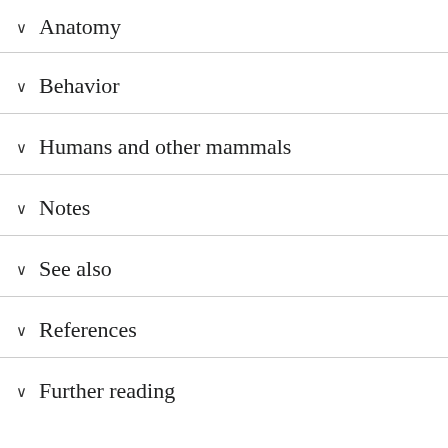∨ Anatomy
∨ Behavior
∨ Humans and other mammals
∨ Notes
∨ See also
∨ References
∨ Further reading